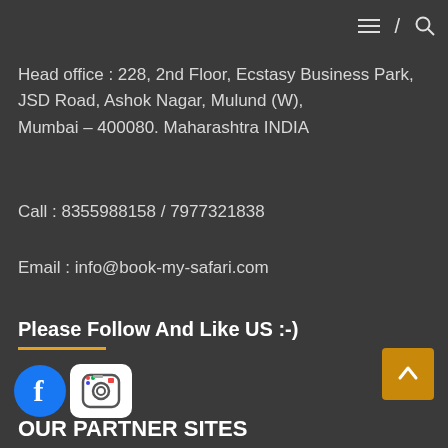≡  /  🔍
Head office : 228, 2nd Floor, Ecstasy Business Park, JSD Road, Ashok Nagar, Mulund (W), Mumbai – 400080. Maharashtra INDIA
Call : 8355988158 / 7977321838
Email : info@book-my-safari.com
Please Follow And Like US :-)
[Figure (logo): Facebook logo icon (blue circle with white F) and Instagram camera icon]
[Figure (other): Back to top button: gold/orange square with white upward chevron arrow]
OUR PARTNER SITES